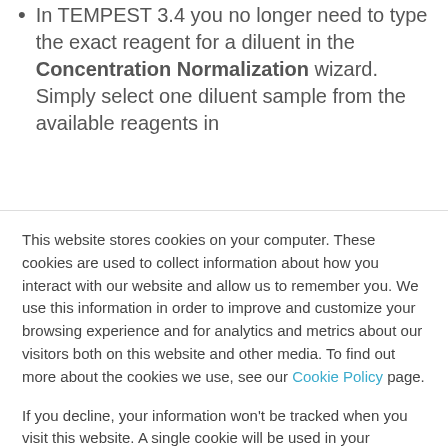In TEMPEST 3.4 you no longer need to type the exact reagent for a diluent in the Concentration Normalization wizard. Simply select one diluent sample from the available reagents in
This website stores cookies on your computer. These cookies are used to collect information about how you interact with our website and allow us to remember you. We use this information in order to improve and customize your browsing experience and for analytics and metrics about our visitors both on this website and other media. To find out more about the cookies we use, see our Cookie Policy page.
If you decline, your information won't be tracked when you visit this website. A single cookie will be used in your browser to remember your preference not to be tracked.